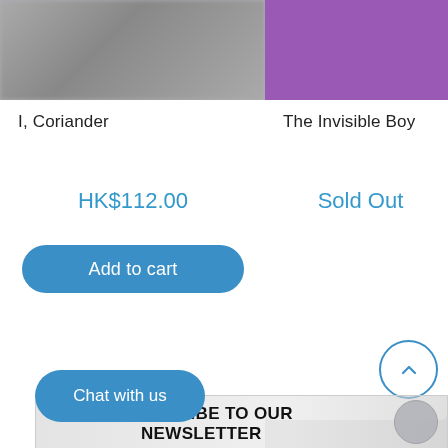[Figure (screenshot): Left product card image - blurred/grayed book cover for 'I, Coriander']
I, Coriander
HK$112.00
Add to cart
[Figure (screenshot): Right product card image - purple banner for 'The Invisible Boy']
The Invisible Boy
Sold Out
Chat with us
BSCRIBE TO OUR NEWSLETTER